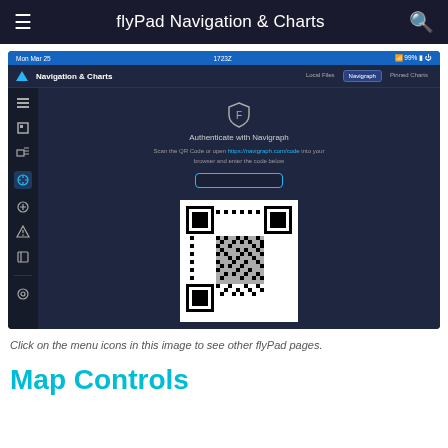flyPad Navigation & Charts
[Figure (screenshot): flyPad EFB application screenshot showing Navigation & Charts page with Navigraph tab selected, displaying an 'Authenticate with Navigraph' dialog with a QR code and a URL input field. Left sidebar shows navigation icons. Status bar shows Mon Mar 25, 1723Z, 99% battery.]
Click on the menu icons in this image to see other flyPad pages.
Map Controls